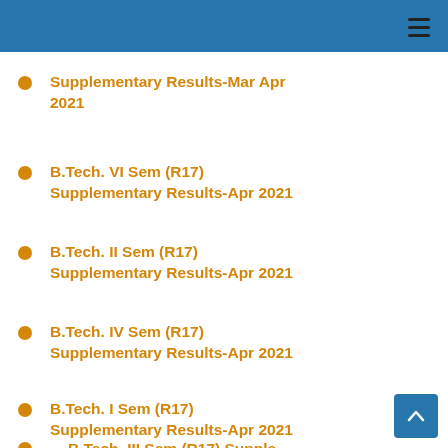Supplementary Results-Mar Apr 2021
B.Tech. VI Sem (R17) Supplementary Results-Apr 2021
B.Tech. II Sem (R17) Supplementary Results-Apr 2021
B.Tech. IV Sem (R17) Supplementary Results-Apr 2021
B.Tech. I Sem (R17) Supplementary Results-Apr 2021
B.Tech. III Sem (R17) Supple...